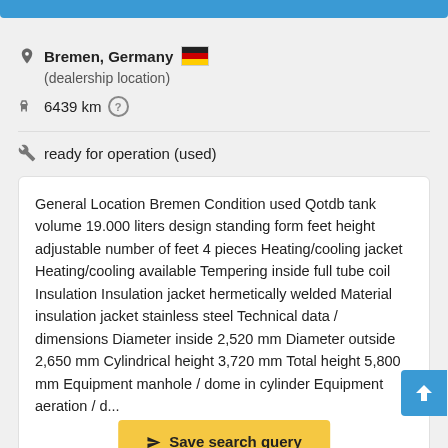Bremen, Germany (dealership location)
6439 km
ready for operation (used)
General Location Bremen Condition used Qotdb tank volume 19.000 liters design standing form feet height adjustable number of feet 4 pieces Heating/cooling jacket Heating/cooling available Tempering inside full tube coil Insulation Insulation jacket hermetically welded Material insulation jacket stainless steel Technical data / dimensions Diameter inside 2,520 mm Diameter outside 2,650 mm Cylindrical height 3,720 mm Total height 5,800 mm Equipment manhole / dome in cylinder Equipment aeration / d...